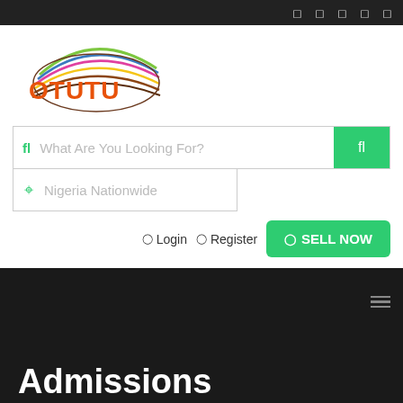Top navigation bar with icons
[Figure (logo): OTUTU logo with colorful oval lines above the text]
What Are You Looking For?
Nigeria Nationwide
Login   Register   SELL NOW
Admissions